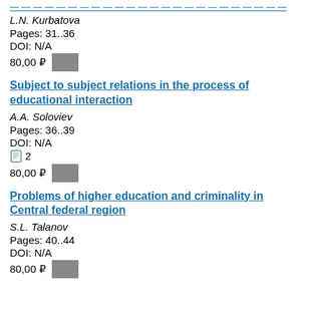L.N. Kurbatova
Pages: 31..36
DOI: N/A
80,00 ₽
Subject to subject relations in the process of educational interaction
A.A. Soloviev
Pages: 36..39
DOI: N/A
2
80,00 ₽
Problems of higher education and criminality in Central federal region
S.L. Talanov
Pages: 40..44
DOI: N/A
80,00 ₽